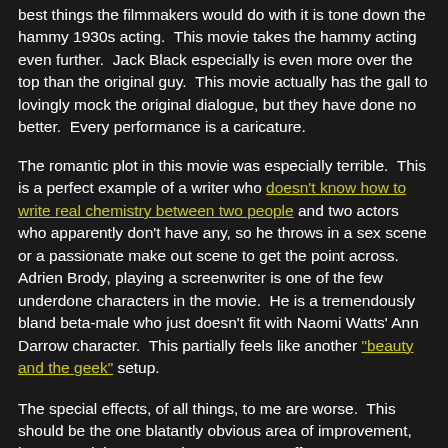best things the filmmakers would do with it is tone down the hammy 1930s acting.  This movie takes the hammy acting even further.  Jack Black especially is even more over the top than the original guy.  This movie actually has the gall to lovingly mock the original dialogue, but they have done no better.  Every performance is a caricature.
The romantic plot in this movie was especially terrible.  This is a perfect example of a writer who doesn't know how to write real chemistry between two people and two actors who apparently don't have any, so he throws in a sex scene or a passionate make out scene to get the point across.  Adrien Brody, playing a screenwriter is one of the few underdone characters in the movie.  He is a tremendously bland beta-male who just doesn't fit with Naomi Watts' Ann Darrow character.  This partially feels like another "beauty and the geek" setup.
The special effects, of all things, to me are worse.  This should be the one blatantly obvious area of improvement, but to me, it isn't.  Yes, these very-CGI effects are technically more realistic than the original, but stop action animation has a charm that transcends realism.  The original Kong is just that, original.  The effects are more blatantly unrealistic in this remake...